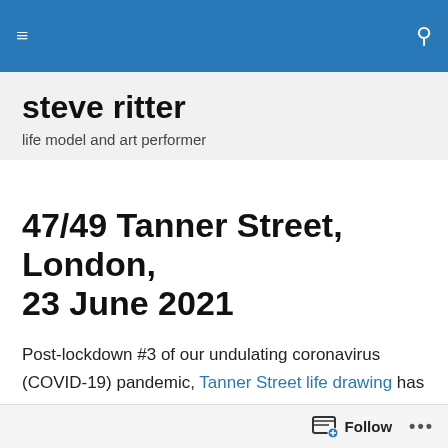steve ritter — life model and art performer
47/49 Tanner Street, London, 23 June 2021
Post-lockdown #3 of our undulating coronavirus (COVID-19) pandemic, Tanner Street life drawing has made a very welcome return. Nothing in life these days seems quite how it was, however; here the group is at the same address, but no longer in the large brick 'Ugly Duck'
Follow